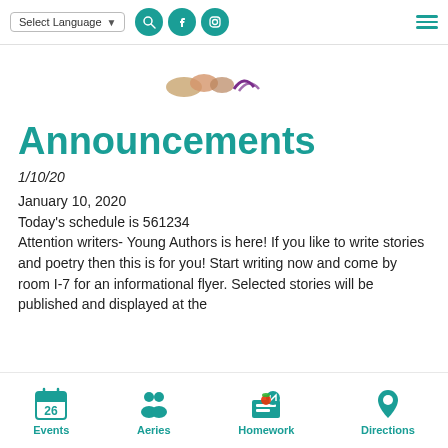Select Language | Search | Facebook | Instagram | Menu
[Figure (logo): Partial school logo/banner image cropped at top]
Announcements
1/10/20
January 10, 2020
Today's schedule is 561234
Attention writers- Young Authors is here! If you like to write stories and poetry then this is for you! Start writing now and come by room I-7 for an informational flyer. Selected stories will be published and displayed at the
Events | Aeries | Homework | Directions